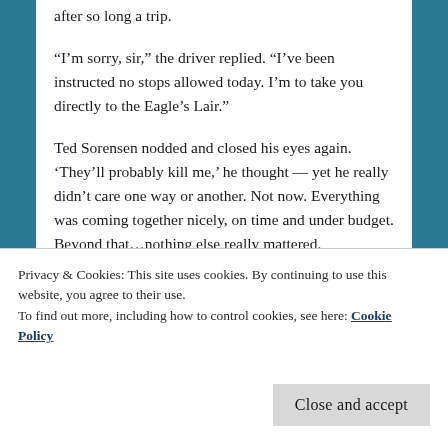after so long a trip.
“I’m sorry, sir,” the driver replied. “I’ve been instructed no stops allowed today. I’m to take you directly to the Eagle’s Lair.”
Ted Sorensen nodded and closed his eyes again. ‘They’ll probably kill me,’ he thought — yet he really didn’t care one way or another. Not now. Everything was coming together nicely, on time and under budget. Beyond that…nothing else really mattered.
Privacy & Cookies: This site uses cookies. By continuing to use this website, you agree to their use.
To find out more, including how to control cookies, see here: Cookie Policy